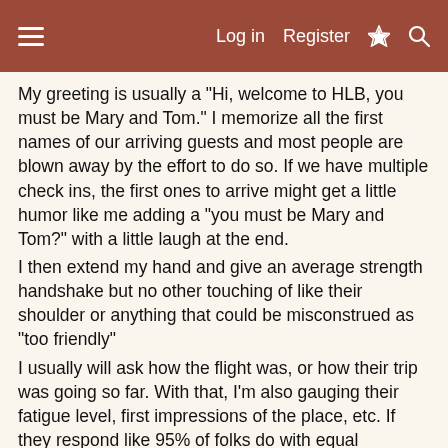≡   Log in   Register   ⚡   🔍
My greeting is usually a "Hi, welcome to HLB, you must be Mary and Tom." I memorize all the first names of our arriving guests and most people are blown away by the effort to do so. If we have multiple check ins, the first ones to arrive might get a little humor like me adding a "you must be Mary and Tom?" with a little laugh at the end.
I then extend my hand and give an average strength handshake but no other touching of like their shoulder or anything that could be misconstrued as "too friendly"
I usually will ask how the flight was, or how their trip was going so far. With that, I'm also gauging their fatigue level, first impressions of the place, etc. If they respond like 95% of folks do with equal friendliness, I just know the next three days are going to be a dream. I can count on one hand where the greeting dynamic was wrong or we had a Dr. Jekyl and Mr. Hyde on our